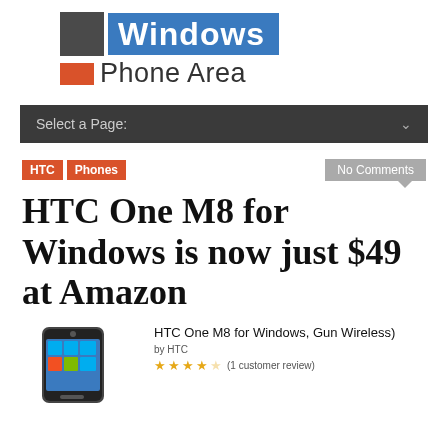[Figure (logo): Windows Phone Area logo with dark grey square, blue 'Windows' text box, red rectangle, and 'Phone Area' text]
Select a Page:
HTC | Phones | No Comments
HTC One M8 for Windows is now just $49 at Amazon
[Figure (photo): HTC One M8 for Windows phone product image]
HTC One M8 for Windows, Gun Wireless)
by HTC
★★★★½ (1 customer review)